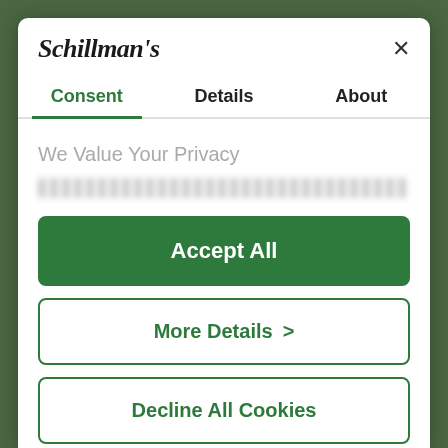[Figure (screenshot): Cookie consent modal dialog for Schillman's website]
Schillman's
Consent | Details | About
We Value Your Privacy
Accept All
More Details >
Decline All Cookies
Powered by Cookiebot by Usercentrics